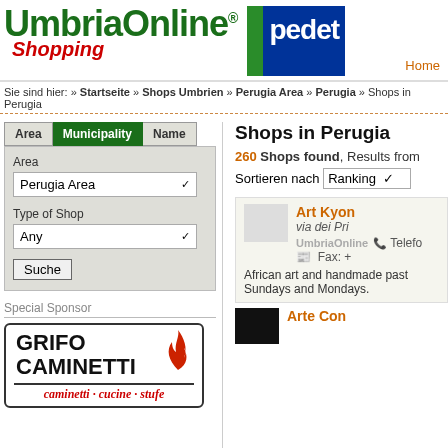[Figure (logo): UmbriaOnline Shopping logo with green bold text and red italic Shopping subtitle, plus blue/green Pedetu logo on the right]
Sie sind hier: » Startseite » Shops Umbrien » Perugia Area » Perugia » Shops in Perugia
[Figure (screenshot): Search form with Area, Municipality, Name tabs; Area dropdown showing Perugia Area; Type of Shop dropdown showing Any; Suche button]
Special Sponsor
[Figure (logo): Grifo Caminetti advertisement with bold black text and red flame icon, subtitle caminetti · cucine · stufe in red italic]
Shops in Perugia
260 Shops found, Results from
Sortieren nach Ranking
Art Kyon
via dei Pri
UmbriaOnline Telefo
Fax: +
African art and handmade past Sundays and Mondays.
Arte Con